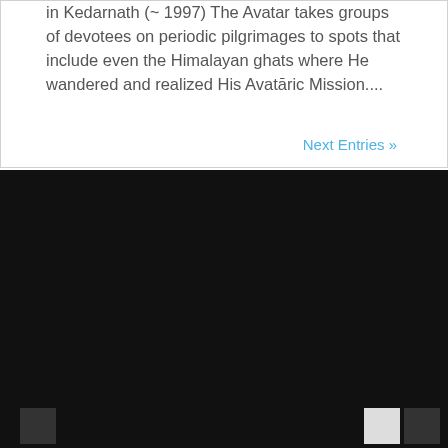in Kedarnath (~ 1997) The Avatar takes groups of devotees on periodic pilgrimages to spots that include even the Himalayan ghats where He wandered and realized His Avatāric Mission....
Next Entries »
[Figure (photo): Dark/black photograph panel taking up the lower portion of the page]